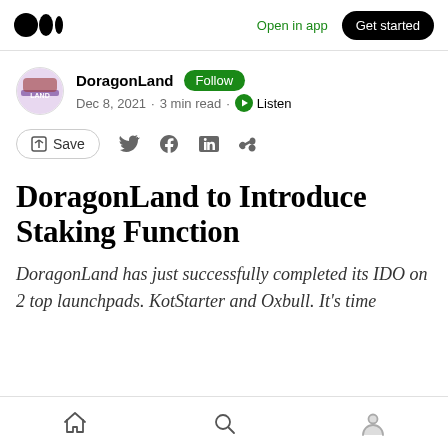Open in app | Get started
DoragonLand · Follow · Dec 8, 2021 · 3 min read · Listen
Save
DoragonLand to Introduce Staking Function
DoragonLand has just successfully completed its IDO on 2 top launchpads. KotStarter and Oxbull. It's time
Home · Search · Profile